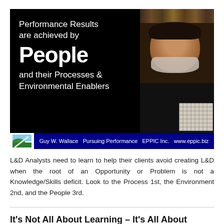[Figure (photo): Promotional banner with text 'Performance Results are achieved by People and their Processes & Environmental Enablers' on black background with photo of a bearded man and a grid chart, plus EPPIC Inc. / Guy W. Wallace branding bar]
L&D Analysts need to learn to help their clients avoid creating L&D when the root of an Opportunity or Problem is not a Knowledge/Skills deficit. Look to the Process 1st, the Environment 2nd, and the People 3rd.
It's Not All About Learning – It's All About Performance. Even in a Learning Organization.